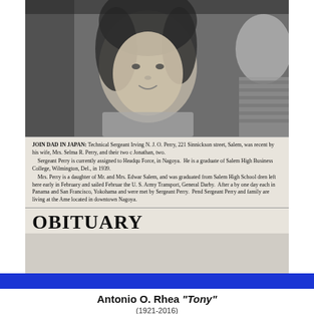[Figure (photo): Black and white newspaper photograph showing a young child (toddler) in the foreground with curly dark hair, smiling, and another child partially visible on the right. The image appears to be a mid-20th century newspaper photo.]
JOIN DAD IN JAPAN: Technical Sergeant Irving N. J. O. Perry, 221 Sinnickson street, Salem, was recently by his wife, Mrs. Selma R. Perry, and their two c Jonathan, two. Sergeant Perry is currently assigned to Headqu Force, in Nagoya. He is a graduate of Salem High Business College, Wilmington, Del., in 1939. Mrs. Perry is a daughter of Mr. and Mrs. Edwar Salem, and was graduated from Salem High School dren left here early in February and sailed Februar the U. S. Army Transport, General Darby. After a by one day each in Panama and San Francisco, Yokohama and were met by Sergeant Perry. Pend Sergeant Perry and family are living at the Ame located in downtown Nagoya.
OBITUARY
Antonio O. Rhea "Tony"
(1921-2016)